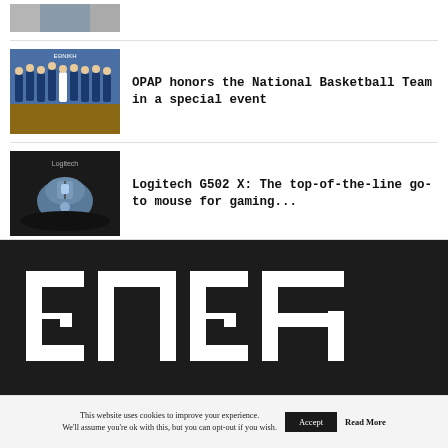[Figure (photo): Partial thumbnail of people at top, cropped]
[Figure (photo): Basketball team photo - group of players in blue uniforms on a court]
OPAP honors the National Basketball Team in a special event
[Figure (photo): Logitech G502 X gaming mouse on a black mousepad]
Logitech G502 X: The top-of-the-line go-to mouse for gaming...
[Figure (logo): EMEA logo in large white blocky monospace letters on dark background]
This website uses cookies to improve your experience. We'll assume you're ok with this, but you can opt-out if you wish.
Accept
Read More